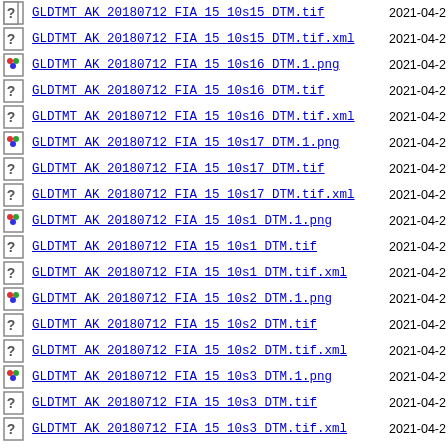GLDTMT AK 20180712 FIA 15 10s15 DTM.tif  2021-04-2
GLDTMT AK 20180712 FIA 15 10s15 DTM.tif.xml  2021-04-2
GLDTMT AK 20180712 FIA 15 10s16 DTM.1.png  2021-04-2
GLDTMT AK 20180712 FIA 15 10s16 DTM.tif  2021-04-2
GLDTMT AK 20180712 FIA 15 10s16 DTM.tif.xml  2021-04-2
GLDTMT AK 20180712 FIA 15 10s17 DTM.1.png  2021-04-2
GLDTMT AK 20180712 FIA 15 10s17 DTM.tif  2021-04-2
GLDTMT AK 20180712 FIA 15 10s17 DTM.tif.xml  2021-04-2
GLDTMT AK 20180712 FIA 15 10s1 DTM.1.png  2021-04-2
GLDTMT AK 20180712 FIA 15 10s1 DTM.tif  2021-04-2
GLDTMT AK 20180712 FIA 15 10s1 DTM.tif.xml  2021-04-2
GLDTMT AK 20180712 FIA 15 10s2 DTM.1.png  2021-04-2
GLDTMT AK 20180712 FIA 15 10s2 DTM.tif  2021-04-2
GLDTMT AK 20180712 FIA 15 10s2 DTM.tif.xml  2021-04-2
GLDTMT AK 20180712 FIA 15 10s3 DTM.1.png  2021-04-2
GLDTMT AK 20180712 FIA 15 10s3 DTM.tif  2021-04-2
GLDTMT AK 20180712 FIA 15 10s3 DTM.tif.xml  2021-04-2